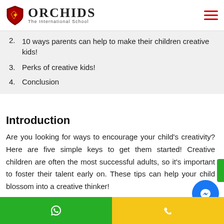ORCHIDS The International School
2. 10 ways parents can help to make their children creative kids!
3. Perks of creative kids!
4. Conclusion
Introduction
Are you looking for ways to encourage your child's creativity? Here are five simple keys to get them started! Creative children are often the most successful adults, so it's important to foster their talent early on. These tips can help your child blossom into a creative thinker!
WhatsApp | Phone